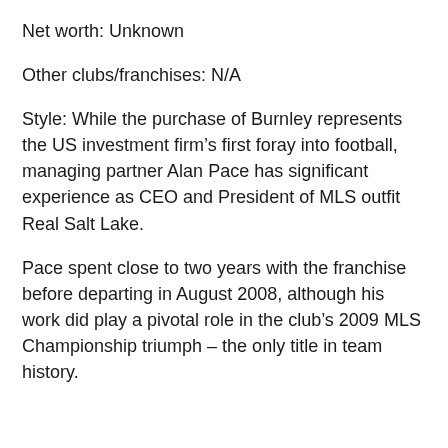Net worth: Unknown
Other clubs/franchises: N/A
Style: While the purchase of Burnley represents the US investment firm’s first foray into football, managing partner Alan Pace has significant experience as CEO and President of MLS outfit Real Salt Lake.
Pace spent close to two years with the franchise before departing in August 2008, although his work did play a pivotal role in the club’s 2009 MLS Championship triumph – the only title in team history.